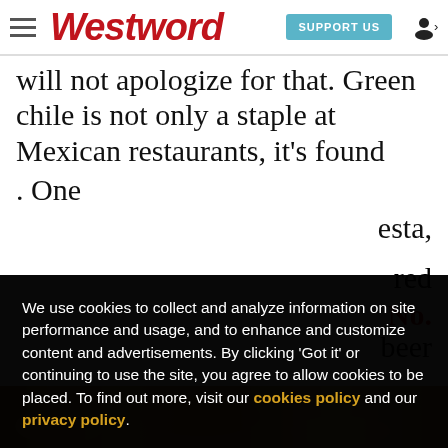Westword | SUPPORT US
will not apologize for that. Green chile is not only a staple at Mexican restaurants, it's found . One esta, red No. beer
We use cookies to collect and analyze information on site performance and usage, and to enhance and customize content and advertisements. By clicking 'Got it' or continuing to use the site, you agree to allow cookies to be placed. To find out more, visit our cookies policy and our privacy policy.
Got it!
[Figure (photo): Food photograph at bottom of page, showing a dish with warm tones of brown and gold]